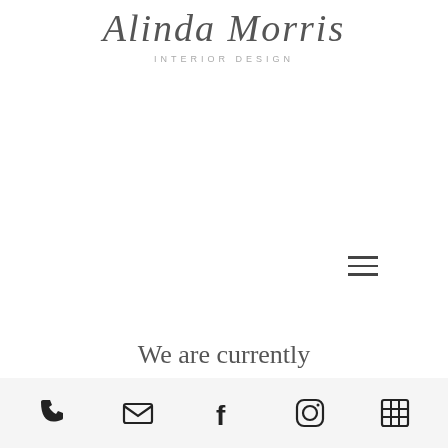Alinda Morris
INTERIOR DESIGN
[Figure (other): Hamburger menu icon (three horizontal lines)]
We are currently
[Figure (other): Footer icon bar with phone, email, facebook, instagram, and grid/menu icons]